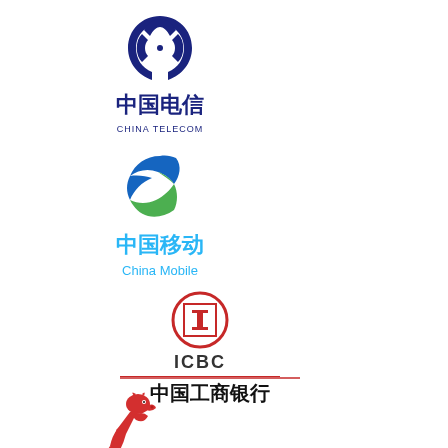[Figure (logo): China Telecom logo: blue stylized telephone receiver icon above Chinese characters 中国电信 and text CHINA TELECOM]
[Figure (logo): China Mobile logo: blue and green wave circle icon above Chinese characters 中国移动 and text China Mobile]
[Figure (logo): ICBC logo: red circular emblem with stylized character above text ICBC with red horizontal line, followed by bold Chinese characters 中国工商银行]
[Figure (logo): Red dragon logo: stylized red dragon figure]